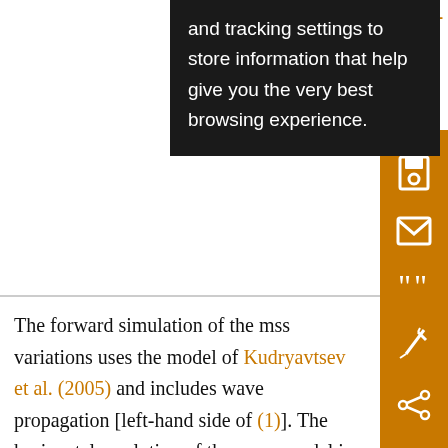and tracking settings to store information that help give you the very best browsing experience.
[Figure (screenshot): Right sidebar with orange background containing icons: save (disk), email (envelope), quote (quotation marks), annotation (pen), and share icons. Also shows orange 'D-' text at top right and a small circular icon.]
The forward simulation of the mss variations uses the model of Kudryavtsev et al. (2005) and includes wave propagation [left-hand side of (1)]. The horizontal resolution of the wave model is also 2 km. The wind is westerly 6 m s⁻¹, and background waves are supposed fully developed. We consider here the mss produced by waves in the wavenumber range 5 ≤ k ≤ 28 m⁻¹